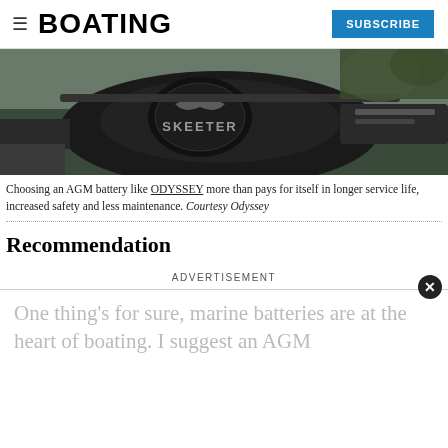BOATING | SUBSCRIBE
[Figure (photo): Close-up photo of a Skeeter boat with a dark engine cover showing the Skeeter logo, on water with foliage in background.]
Choosing an AGM battery like ODYSSEY more than pays for itself in longer service life, increased safety and less maintenance. Courtesy Odyssey
Recommendation
ADVERTISEMENT
One thing’s for sure, marine batteries are at the heart of boating. I suggest an AGM